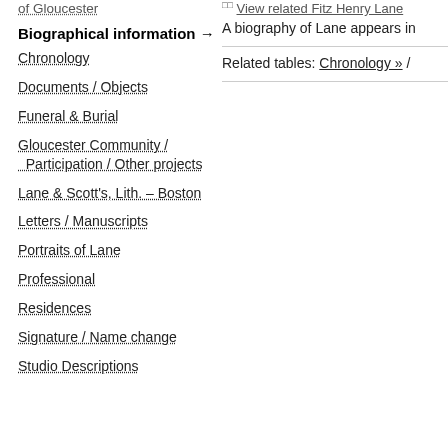of Gloucester
Biographical information →
Chronology
Documents / Objects
Funeral & Burial
Gloucester Community / Participation / Other projects
Lane & Scott's, Lith. – Boston
Letters / Manuscripts
Portraits of Lane
Professional
Residences
Signature / Name change
Studio Descriptions
View related Fitz Henry Lane
A biography of Lane appears in
Related tables: Chronology »
[Figure (photo): Photograph of an aged newspaper or document page with multiple columns of small print text, yellowed and worn appearance.]